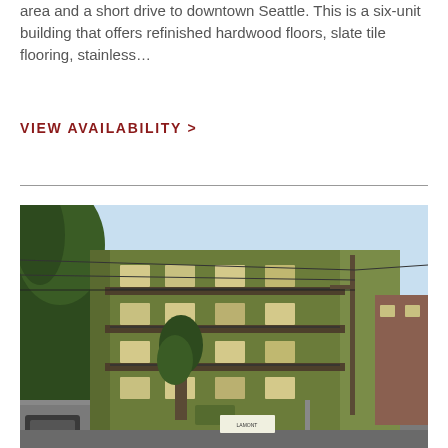area and a short drive to downtown Seattle. This is a six-unit building that offers refinished hardwood floors, slate tile flooring, stainless...
VIEW AVAILABILITY >
[Figure (photo): Exterior photo of a multi-story olive green apartment building with balconies, surrounded by trees and utility poles, street-level view]